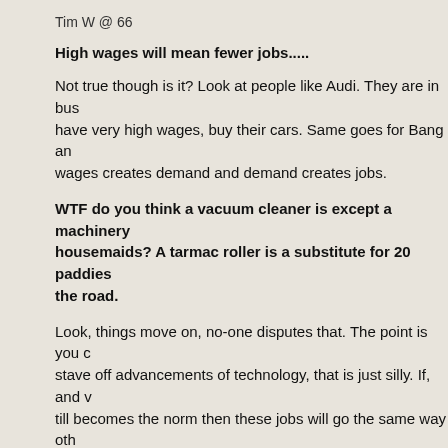Tim W @ 66
High wages will mean fewer jobs.....
Not true though is it? Look at people like Audi. They are in bus have very high wages, buy their cars. Same goes for Bang an wages creates demand and demand creates jobs.
WTF do you think a vacuum cleaner is except a machinery housemaids? A tarmac roller is a substitute for 20 paddies the road.
Look, things move on, no-one disputes that. The point is you c stave off advancements of technology, that is just silly. If, and v till becomes the norm then these jobs will go the same way oth economy should move onto another level. We are not an argio have moved on, nor are we a washer woman economy any me from that too. One day in the future we will stop being a Nation we will move on from that as well. You think the way to comba wages and conditions of the poor, well that is destined to fail, b making labour in this Country worthless. That is the problem w the value of labour thirty years ago. It became far easier to thr than the retrain them because labour was so cheap. That is wh this Country. There is simply no reason for employers to look a